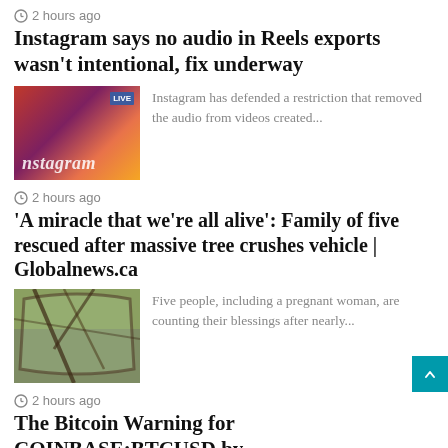⏱ 2 hours ago
Instagram says no audio in Reels exports wasn't intentional, fix underway
[Figure (photo): Instagram logo on a phone screen with gradient red/purple background, showing the word 'Instagram']
Instagram has defended a restriction that removed the audio from videos created...
⏱ 2 hours ago
'A miracle that we're all alive': Family of five rescued after massive tree crushes vehicle | Globalnews.ca
[Figure (photo): View through a car windshield showing tree branches and debris crushing the vehicle]
Five people, including a pregnant woman, are counting their blessings after nearly...
⏱ 2 hours ago
The Bitcoin Warning for COINBASE:BTCUSD by SPY_Master
[Figure (photo): Dark/grey toned image partially visible at bottom of page]